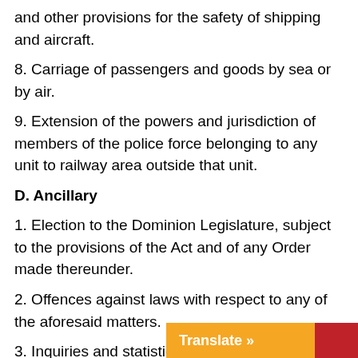and other provisions for the safety of shipping and aircraft.
8. Carriage of passengers and goods by sea or by air.
9. Extension of the powers and jurisdiction of members of the police force belonging to any unit to railway area outside that unit.
D. Ancillary
1. Election to the Dominion Legislature, subject to the provisions of the Act and of any Order made thereunder.
2. Offences against laws with respect to any of the aforesaid matters.
3. Inquiries and statistics for the purposes of any of the aforesaid matters.
4. Jurisdiction and powers of all courts with respect to any of the aforesaid matters.